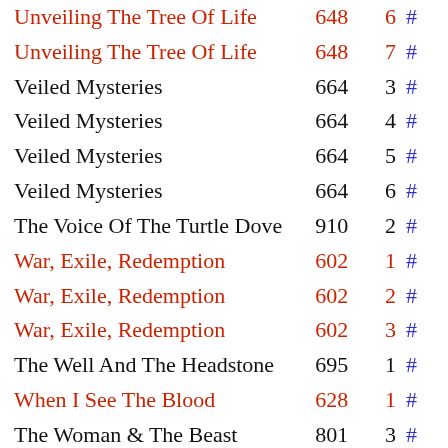| Title | Number | Episode | # |
| --- | --- | --- | --- |
| Unveiling The Tree Of Life | 648 | 6 | # |
| Unveiling The Tree Of Life | 648 | 7 | # |
| Veiled Mysteries | 664 | 3 | # |
| Veiled Mysteries | 664 | 4 | # |
| Veiled Mysteries | 664 | 5 | # |
| Veiled Mysteries | 664 | 6 | # |
| The Voice Of The Turtle Dove | 910 | 2 | # |
| War, Exile, Redemption | 602 | 1 | # |
| War, Exile, Redemption | 602 | 2 | # |
| War, Exile, Redemption | 602 | 3 | # |
| The Well And The Headstone | 695 | 1 | # |
| When I See The Blood | 628 | 1 | # |
| The Woman & The Beast | 801 | 3 | # |
| The Woman & The Beast | 801 | 6 | # |
| The Woman & The Beast | 801 | 8 | # |
| The Woman & The Inhabitants Of The Land | 663 | 1 | # |